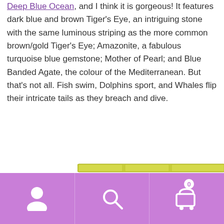Last month, I released this new themed kit, Deep Blue Ocean, and I think it is gorgeous! It features dark blue and brown Tiger's Eye, an intriguing stone with the same luminous striping as the more common brown/gold Tiger's Eye; Amazonite, a fabulous turquoise blue gemstone; Mother of Pearl; and Blue Banded Agate, the colour of the Mediterranean. But that's not all. Fish swim, Dolphins sport, and Whales flip their intricate tails as they breach and dive.
[Figure (other): Partial view of a knitting kit with yellow/olive colored yarn or fabric sections visible at the bottom of the text area]
Welcome to Granary Knits. Due to ongoing issues with Brexit as well as global postage prices, we are sadly unable to sell outside the UK.
Dismiss
[Figure (other): Bottom navigation bar with purple background showing three icons: user/person icon, search/magnifying glass icon, and shopping cart icon with badge showing 0]